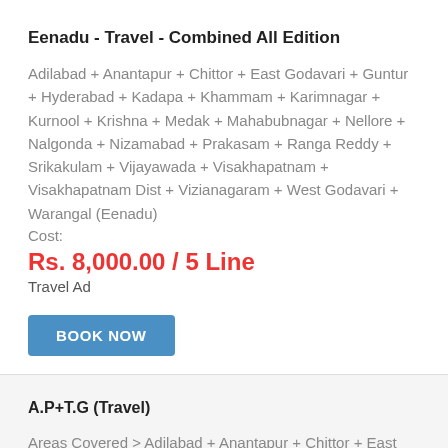Eenadu - Travel - Combined All Edition
Adilabad + Anantapur + Chittor + East Godavari + Guntur + Hyderabad + Kadapa + Khammam + Karimnagar + Kurnool + Krishna + Medak + Mahabubnagar + Nellore + Nalgonda + Nizamabad + Prakasam + Ranga Reddy + Srikakulam + Vijayawada + Visakhapatnam + Visakhapatnam Dist + Vizianagaram + West Godavari + Warangal (Eenadu)
Cost:
Rs. 8,000.00 / 5 Line
Travel Ad
BOOK NOW
A.P+T.G (Travel)
Areas Covered > Adilabad + Anantapur + Chittor + East Godavari + Guntur + Hyderabad + Kadapa + Khammam +